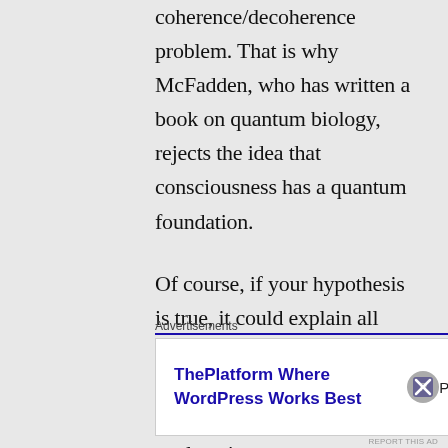coherence/decoherence problem. That is why McFadden, who has written a book on quantum biology, rejects the idea that consciousness has a quantum foundation.
Of course, if your hypothesis is true, it could explain all sorts of things in a marvelous way. But you don't have any evidence or even a potential explanation
Advertisements
[Figure (other): Advertisement banner: ThePlatform Where WordPress Works Best — Pressable logo]